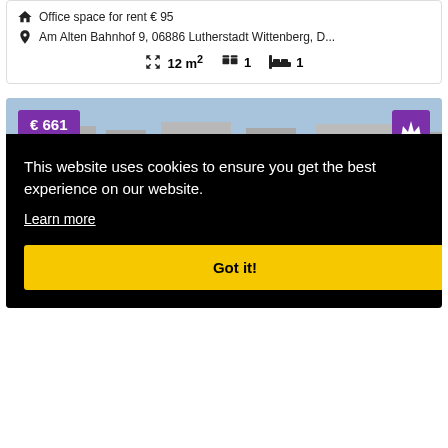Office space for rent € 95
Am Alten Bahnhof 9, 06886 Lutherstadt Wittenberg, D...
12 m²  1  1
[Figure (photo): Aerial/rooftop photograph of Lutherstadt Wittenberg showing red-tiled rooftops, trees, and buildings under a blue sky. Purple price badge showing € 661 in top-left, purple crown badge in top-right. Left and right navigation arrows visible.]
This website uses cookies to ensure you get the best experience on our website.
Learn more
Got it!